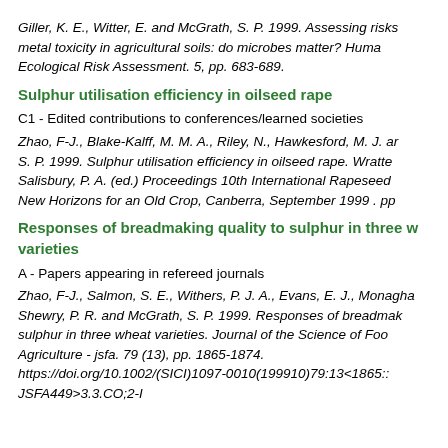Giller, K. E., Witter, E. and McGrath, S. P. 1999. Assessing risks metal toxicity in agricultural soils: do microbes matter? Human Ecological Risk Assessment. 5, pp. 683-689.
Sulphur utilisation efficiency in oilseed rape
C1 - Edited contributions to conferences/learned societies
Zhao, F-J., Blake-Kalff, M. M. A., Riley, N., Hawkesford, M. J. and S. P. 1999. Sulphur utilisation efficiency in oilseed rape. Wratte Salisbury, P. A. (ed.) Proceedings 10th International Rapeseed New Horizons for an Old Crop, Canberra, September 1999 . pp
Responses of breadmaking quality to sulphur in three w varieties
A - Papers appearing in refereed journals
Zhao, F-J., Salmon, S. E., Withers, P. J. A., Evans, E. J., Monagha Shewry, P. R. and McGrath, S. P. 1999. Responses of breadmak sulphur in three wheat varieties. Journal of the Science of Foo Agriculture - jsfa. 79 (13), pp. 1865-1874. https://doi.org/10.1002/(SICI)1097-0010(199910)79:13<1865:: JSFA449>3.3.CO;2-I